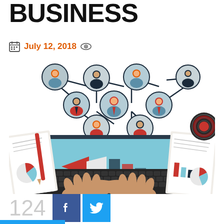BUSINESS
July 12, 2018
[Figure (illustration): Business networking illustration showing people icons connected by lines above a person typing on a laptop, surrounded by documents with charts and a coffee cup]
124
[Figure (other): Facebook share button (dark blue square with white f)]
[Figure (other): Twitter share button (light blue square with white bird icon)]